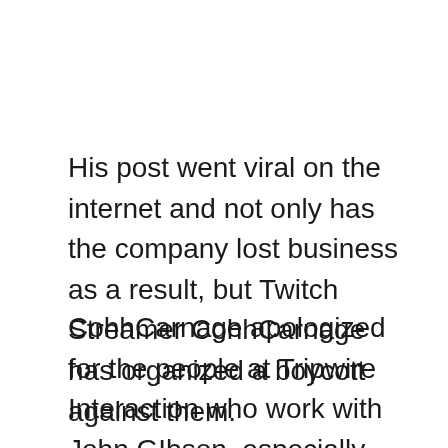His post went viral on the internet and not only has the company lost business as a result, but Twitch Streamer CohhCarnage has organized a boycott against them.
CohhCarnage apologized for the people at Tripwire Interaction who work with John GIbson, especially those at Chivalry and Torn Banner Studios who chose to work with him as their publisher. He added saying that he is not going to